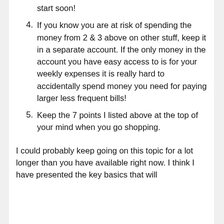start soon!
4. If you know you are at risk of spending the money from 2 & 3 above on other stuff, keep it in a separate account. If the only money in the account you have easy access to is for your weekly expenses it is really hard to accidentally spend money you need for paying larger less frequent bills!
5. Keep the 7 points I listed above at the top of your mind when you go shopping.
I could probably keep going on this topic for a lot longer than you have available right now. I think I have presented the key basics that will